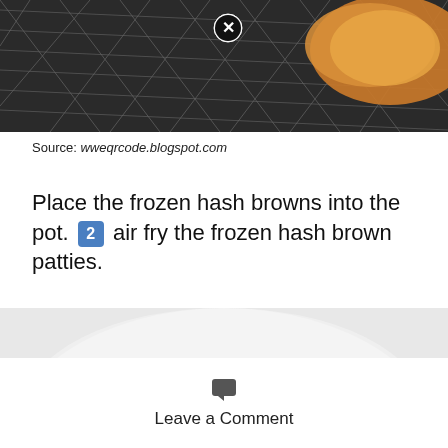[Figure (photo): Photo of a hash brown patty on a wire air fryer basket grill, with a close-up X/close button visible at top center]
Source: wweqrcode.blogspot.com
Place the frozen hash browns into the pot. 2 air fry the frozen hash brown patties.
[Figure (photo): Photo of two golden-brown crispy hash brown patties on a white plate with some scrambled egg visible at the right edge]
Leave a Comment